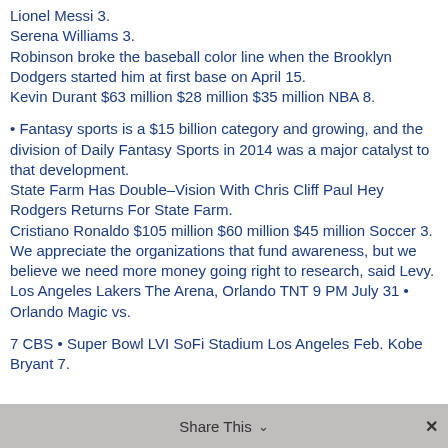Lionel Messi 3.
Serena Williams 3.
Robinson broke the baseball color line when the Brooklyn Dodgers started him at first base on April 15.
Kevin Durant $63 million $28 million $35 million NBA 8.
• Fantasy sports is a $15 billion category and growing, and the division of Daily Fantasy Sports in 2014 was a major catalyst to that development.
State Farm Has Double–Vision With Chris Cliff Paul Hey Rodgers Returns For State Farm.
Cristiano Ronaldo $105 million $60 million $45 million Soccer 3.
We appreciate the organizations that fund awareness, but we believe we need more money going right to research, said Levy.
Los Angeles Lakers The Arena, Orlando TNT 9 PM July 31 • Orlando Magic vs.
7 CBS • Super Bowl LVI SoFi Stadium Los Angeles Feb. Kobe Bryant 7.
Share This ∨  ✕